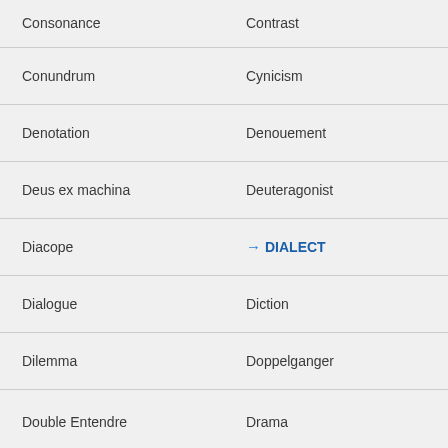Consonance
Contrast
Conundrum
Cynicism
Denotation
Denouement
Deus ex machina
Deuteragonist
Diacope
DIALECT
Dialogue
Diction
Dilemma
Doppelganger
Double Entendre
Drama